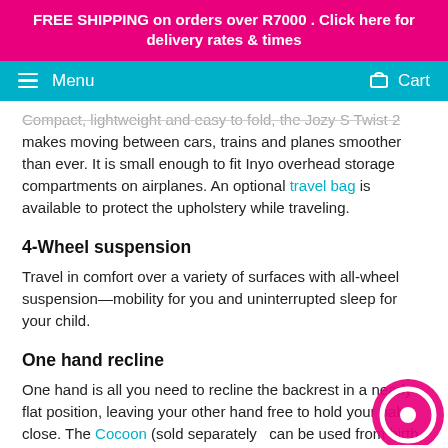FREE SHIPPING on orders over R7000 . Click here for delivery rates & times
Menu  Cart
Compact, lightweight and easy to fold, the Jozy S Twist 2 makes moving between cars, trains and planes smoother than ever. It is small enough to fit Inyo overhead storage compartments on airplanes. An optional travel bag is available to protect the upholstery while traveling.
4-Wheel suspension
Travel in comfort over a variety of surfaces with all-wheel suspension—mobility for you and uninterrupted sleep for your child.
One hand recline
One hand is all you need to recline the backrest in a nearly flat position, leaving your other hand free to hold your baby close. The Cocoon (sold separately  can be used from birth.